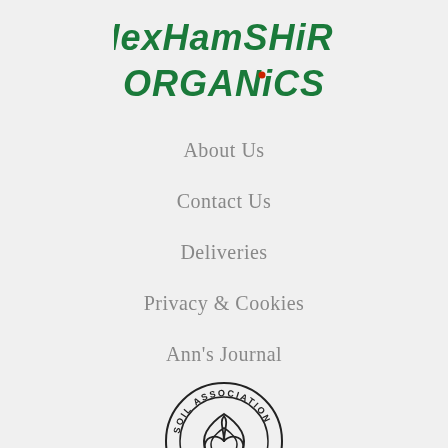[Figure (logo): Hexhamshire Organics logo — stylized hand-lettered text in dark green reading HEXHAMSHIRE ORGANICS in two lines]
About Us
Contact Us
Deliveries
Privacy & Cookies
Ann's Journal
[Figure (logo): Soil Association Organic certification logo — circular badge with leaf/organic mark and text SOIL ASSOCIATION ORGANIC around the border]